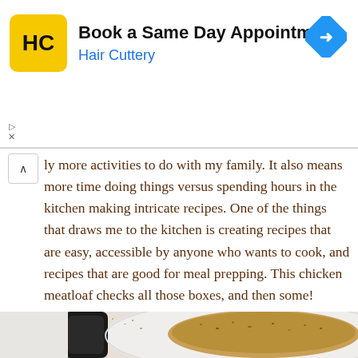[Figure (screenshot): Advertisement banner for Hair Cuttery with yellow HC logo, headline 'Book a Same Day Appointment', subtitle 'Hair Cuttery' in blue, and a blue diamond navigation arrow icon. Small ad controls (triangle/play and X) on left side, and a collapse chevron arrow.]
ly more activities to do with my family. It also means more time doing things versus spending hours in the kitchen making intricate recipes. One of the things that draws me to the kitchen is creating recipes that are easy, accessible by anyone who wants to cook, and recipes that are good for meal prepping. This chicken meatloaf checks all those boxes, and then some!
[Figure (photo): Food photo showing a cooked chicken meatloaf with herb crust on a white oval plate, with a pepper grinder on the left side.]